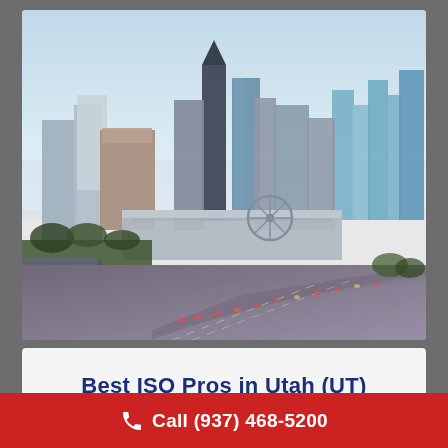[Figure (photo): Aerial view of a city skyline with tall buildings, a ferris wheel, and busy highway interchange with traffic]
Best ISO Pros in Utah (UT)
Call (937) 468-5200